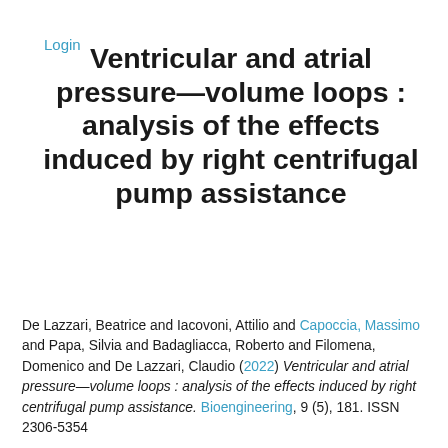Login
Ventricular and atrial pressure—volume loops : analysis of the effects induced by right centrifugal pump assistance
De Lazzari, Beatrice and Iacovoni, Attilio and Capoccia, Massimo and Papa, Silvia and Badagliacca, Roberto and Filomena, Domenico and De Lazzari, Claudio (2022) Ventricular and atrial pressure—volume loops : analysis of the effects induced by right centrifugal pump assistance. Bioengineering, 9 (5), 181. ISSN 2306-5354